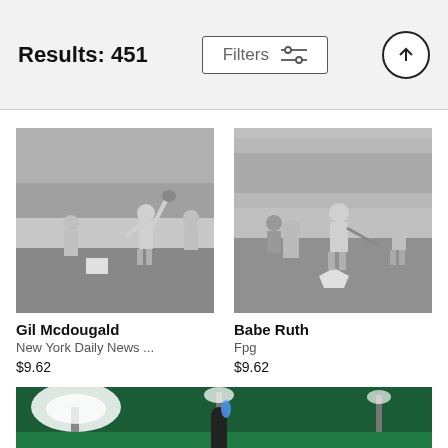Results: 451
Filters
[Figure (photo): Black and white photo of baseball player Gil Mcdougald leaping to catch a ball at a stadium]
Gil Mcdougald
New York Daily News ...
$9.62
[Figure (photo): Black and white photo of Babe Ruth batting at a baseball game with catcher and umpire nearby]
Babe Ruth
Fpg
$9.62
[Figure (photo): Color photo of a baseball stadium at night with bright stadium lights and green field]